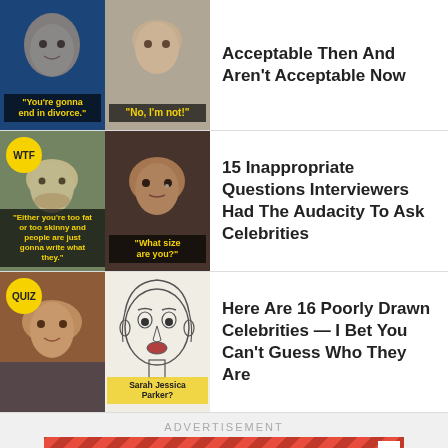[Figure (photo): Article thumbnail row 1: two celebrity images with speech bubble text - left showing 'You're gonna end in divorce.' and right showing 'No, I'm not!']
Acceptable Then And Aren't Acceptable Now
[Figure (photo): Article thumbnail row 2: two celebrity images with WTF badge and speech bubbles - left with text 'Either you're too fat or too skinny and people are just gonna write what they.' and right Oprah with 'What size are you?']
15 Inappropriate Questions Interviewers Had The Audacity To Ask Celebrities
[Figure (photo): Article thumbnail row 3: two images with QUIZ badge - left Jennifer Lopez photo and right sketch labeled 'Sarah Jessica Parker?']
Here Are 16 Poorly Drawn Celebrities — I Bet You Can't Guess Who They Are
ADVERTISEMENT
[Figure (photo): Advertisement banner: red diagonal stripe header with X close button and black background text reading 'GET ALL THE BEST OF BUZZFEED QUIZZES']